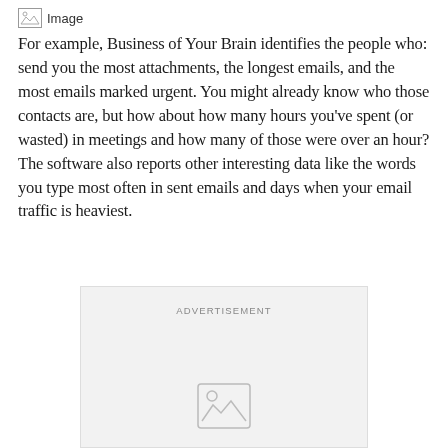[Figure (illustration): Small broken image icon with label 'Image']
For example, Business of Your Brain identifies the people who: send you the most attachments, the longest emails, and the most emails marked urgent. You might already know who those contacts are, but how about how many hours you’ve spent (or wasted) in meetings and how many of those were over an hour? The software also reports other interesting data like the words you type most often in sent emails and days when your email traffic is heaviest.
[Figure (other): Advertisement placeholder block with 'ADVERTISEMENT' label and image icon]